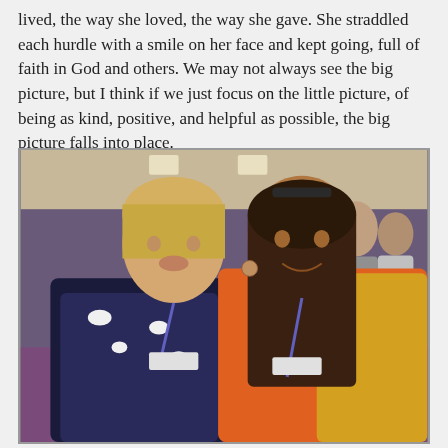lived, the way she loved, the way she gave. She straddled each hurdle with a smile on her face and kept going, full of faith in God and others. We may not always see the big picture, but I think if we just focus on the little picture, of being as kind, positive, and helpful as possible, the big picture falls into place.
[Figure (photo): Two women smiling and posing together indoors at what appears to be a large convention or event venue. The woman on the left has blonde hair and is wearing a black and white patterned sleeveless dress with a purple lanyard. The woman on the right has dark hair, is wearing an orange top and yellow cardigan, with a purple lanyard. The background shows a large hall with purple carpet and other attendees.]